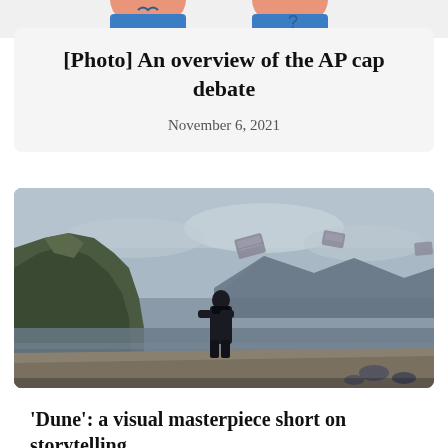[Figure (illustration): Partial view of illustrated cartoon figures at the top of the page, cropped]
[Photo] An overview of the AP cap debate
November 6, 2021
[Figure (photo): A person in dark clothing standing on a beach with dramatic rocky cliffs and an overcast sky, with objects flying in the air — movie still from Dune]
'Dune': a visual masterpiece short on storytelling